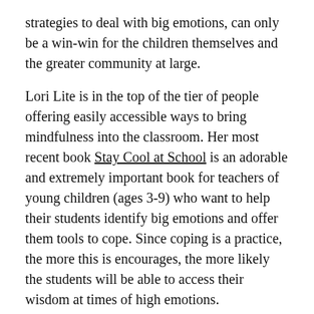strategies to deal with big emotions, can only be a win-win for the children themselves and the greater community at large.
Lori Lite is in the top of the tier of people offering easily accessible ways to bring mindfulness into the classroom. Her most recent book Stay Cool at School is an adorable and extremely important book for teachers of young children (ages 3-9) who want to help their students identify big emotions and offer them tools to cope. Since coping is a practice, the more this is encourages, the more likely the students will be able to access their wisdom at times of high emotions.
In the story, the two adorable dream monkeys, Jumpy & Sunny help the young child in the story to identify the big emotions experienced, from anger to over-excitement to embarrassment and joy. In each instance, they offer up various breathing strategies that anyone can do, without anyone else even noticing, to increase a sense of calm, self-control and to